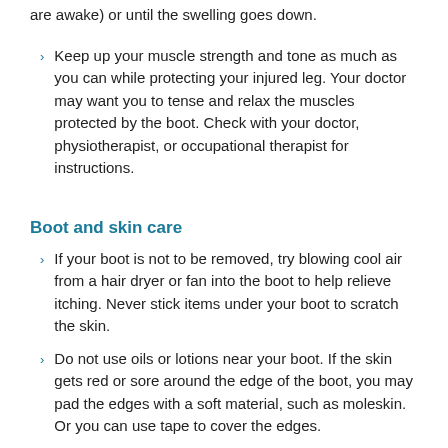are awake) or until the swelling goes down.
Keep up your muscle strength and tone as much as you can while protecting your injured leg. Your doctor may want you to tense and relax the muscles protected by the boot. Check with your doctor, physiotherapist, or occupational therapist for instructions.
Boot and skin care
If your boot is not to be removed, try blowing cool air from a hair dryer or fan into the boot to help relieve itching. Never stick items under your boot to scratch the skin.
Do not use oils or lotions near your boot. If the skin gets red or sore around the edge of the boot, you may pad the edges with a soft material, such as moleskin. Or you can use tape to cover the edges.
If you're allowed to take your boot off, be sure your skin is dry before you put the boot back